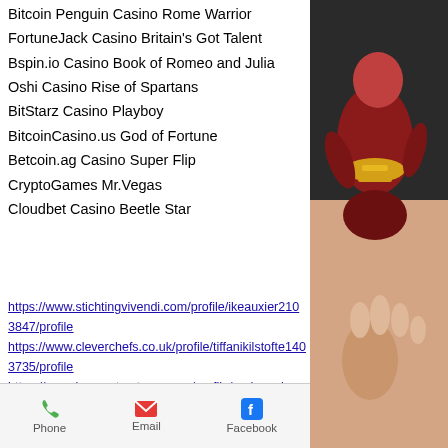Bitcoin Penguin Casino Rome Warrior
FortuneJack Casino Britain's Got Talent
Bspin.io Casino Book of Romeo and Julia
Oshi Casino Rise of Spartans
BitStarz Casino Playboy
BitcoinCasino.us God of Fortune
Betcoin.ag Casino Super Flip
CryptoGames Mr.Vegas
Cloudbet Casino Beetle Star
https://www.stichtingvivendi.com/profile/ikeauxier2103847/profile
https://www.cleverchefs.co.uk/profile/tiffanikilstofte1403735/profile
https://www.bnconstructores.com/profile/enriquegiarrusso9539297/profile
https://www.allescortgirls.net/profile/carlotrussel19219674/profile
[Figure (photo): A colorful illustrated character or figurine on the right side of the page, with dark red/maroon and yellow colors, partially visible]
Phone   Email   Facebook